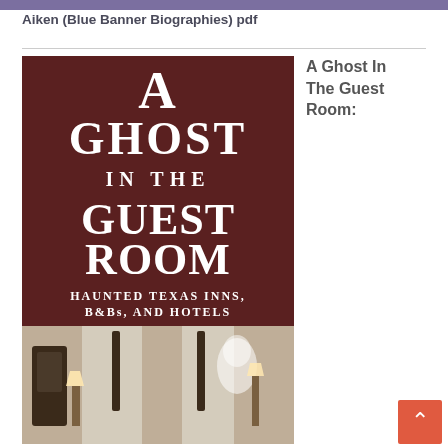[Figure (other): Purple/lavender top banner strip]
Aiken (Blue Banner Biographies) pdf
[Figure (photo): Book cover for 'A Ghost In The Guest Room: Haunted Texas Inns, B&Bs, and Hotels' with dark maroon background, art deco typography, and a photo of a Victorian-style bedroom with ghost figure]
A Ghost In The Guest Room: